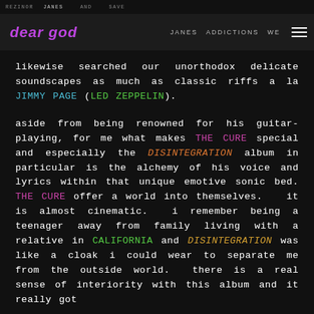dear god — navigation header with logo and menu
likewise searched our unorthodox delicate soundscapes as much as classic riffs a la JIMMY PAGE (LED ZEPPELIN).

aside from being renowned for his guitar-playing, for me what makes THE CURE special and especially the DISINTEGRATION album in particular is the alchemy of his voice and lyrics within that unique emotive sonic bed. THE CURE offer a world into themselves. it is almost cinematic. i remember being a teenager away from family living with a relative in CALIFORNIA and DISINTEGRATION was like a cloak i could wear to separate me from the outside world. there is a real sense of interiority with this album and it really got